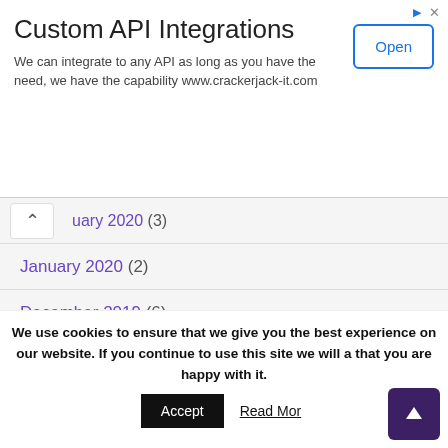[Figure (other): Advertisement banner: Custom API Integrations with Open button]
uary 2020 (3)
January 2020 (2)
December 2019 (6)
November 2019 (3)
March 2019 (1)
February 2019 (1)
January 2019 (2)
We use cookies to ensure that we give you the best experience on our website. If you continue to use this site we will assume that you are happy with it.